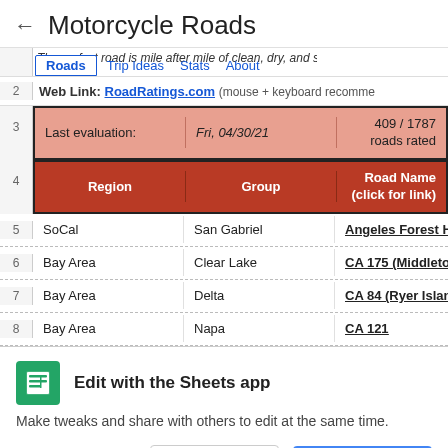Motorcycle Roads
| Region | Group | Road Name (click for link) |
| --- | --- | --- |
| Last evaluation: | Fri, 04/30/21 | 409 / 1787 roads rated |
| Region | Group | Road Name (click for link) |
| SoCal | San Gabriel | Angeles Forest Hwy / N3… |
| Bay Area | Clear Lake | CA 175 (Middletown to K… |
| Bay Area | Delta | CA 84 (Ryer Island) |
| Bay Area | Napa | CA 121 |
Edit with the Sheets app
Make tweaks and share with others to edit at the same time.
NO THANKS
GET THE APP